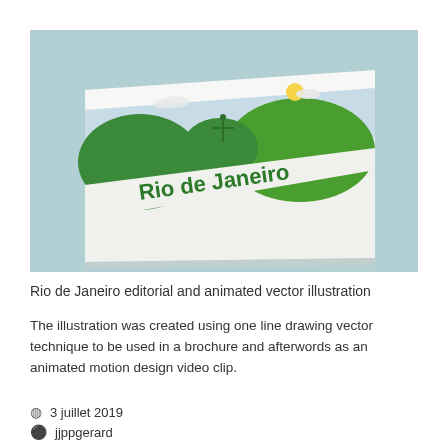[Figure (photo): A 3D rendered mockup of a landscape-format brochure titled 'Rio de Janeiro' featuring green illustrated hills, a stylized Christ the Redeemer statue silhouette, and a light blue sky background, displayed on a teal/light blue surface.]
Rio de Janeiro editorial and animated vector illustration
The illustration was created using one line drawing vector technique to be used in a brochure and afterwords as an animated motion design video clip.
3 juillet 2019
jjppgerard